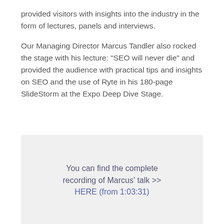provided visitors with insights into the industry in the form of lectures, panels and interviews.
Our Managing Director Marcus Tandler also rocked the stage with his lecture: "SEO will never die" and provided the audience with practical tips and insights on SEO and the use of Ryte in his 180-page SlideStorm at the Expo Deep Dive Stage.
You can find the complete recording of Marcus' talk >> HERE (from 1:03:31)